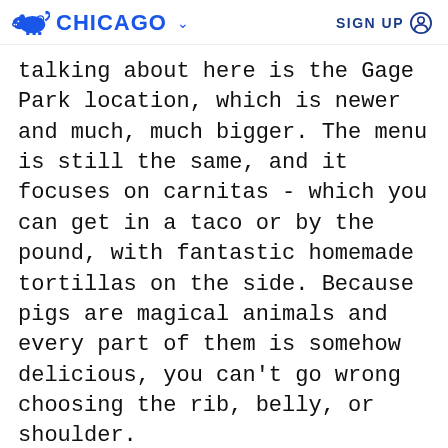CHICAGO  SIGN UP
talking about here is the Gage Park location, which is newer and much, much bigger. The menu is still the same, and it focuses on carnitas - which you can get in a taco or by the pound, with fantastic homemade tortillas on the side. Because pigs are magical animals and every part of them is somehow delicious, you can't go wrong choosing the rib, belly, or shoulder.
PHOTO CREDIT: DIEGO PARILLA  RATINGS FAQ
[Figure (photo): Interior of a restaurant with glass partition walls, framed artwork, and industrial pendant lighting. A yellow circular badge with '7.6' rating overlaid in the top right corner.]